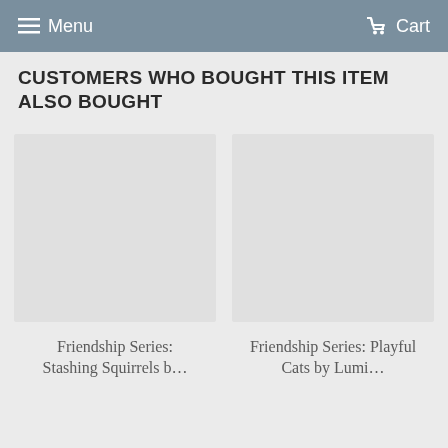Menu  Cart
CUSTOMERS WHO BOUGHT THIS ITEM ALSO BOUGHT
[Figure (photo): Product image placeholder for Friendship Series: Stashing Squirrels (empty grey box)]
Friendship Series: Stashing Squirrels b…
[Figure (photo): Product image placeholder for Friendship Series: Playful Cats by Lumi… (empty grey box)]
Friendship Series: Playful Cats by Lumi…